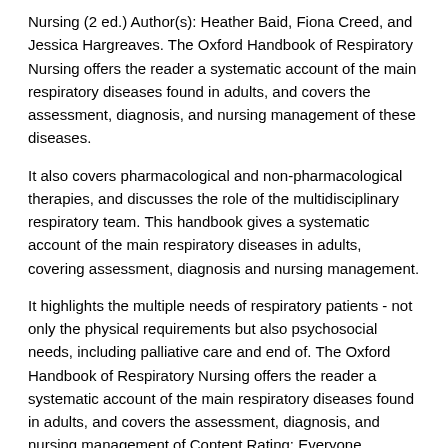Nursing (2 ed.) Author(s): Heather Baid, Fiona Creed, and Jessica Hargreaves. The Oxford Handbook of Respiratory Nursing offers the reader a systematic account of the main respiratory diseases found in adults, and covers the assessment, diagnosis, and nursing management of these diseases.
It also covers pharmacological and non-pharmacological therapies, and discusses the role of the multidisciplinary respiratory team. This handbook gives a systematic account of the main respiratory diseases in adults, covering assessment, diagnosis and nursing management.
It highlights the multiple needs of respiratory patients - not only the physical requirements but also psychosocial needs, including palliative care and end of. The Oxford Handbook of Respiratory Nursing offers the reader a systematic account of the main respiratory diseases found in adults, and covers the assessment, diagnosis, and nursing management of Content Rating: Everyone.
Terry Robinson, Jane Scullion, "Oxford Handbook of Respiratory Nursing" English | | pages: | ISBN: | PDF | 2,9 mb. Revised and